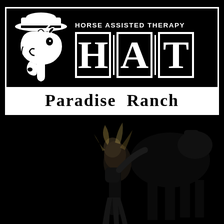[Figure (logo): HAT Paradise Ranch logo — Horse Assisted Therapy logo featuring a stylized white horse head with cowboy hat, large HAT letters in outlined boxes, tagline 'HORSE ASSISTED THERAPY' above, and 'Paradise Ranch' text in white on black banner, all on black background with a dark photo of a person near a horse in the lower half.]